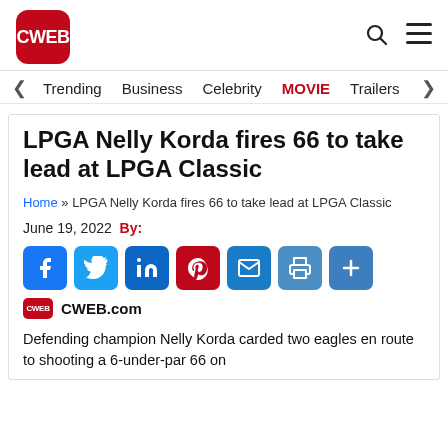CWEB
Trending  Business  Celebrity  MOVIE  Trailers
LPGA Nelly Korda fires 66 to take lead at LPGA Classic
Home » LPGA Nelly Korda fires 66 to take lead at LPGA Classic
June 19, 2022  By:
[Figure (infographic): Social share buttons: Facebook, Twitter, LinkedIn, Pinterest, Email, Print, More]
CWEB.com
Defending champion Nelly Korda carded two eagles en route to shooting a 6-under-par 66 on